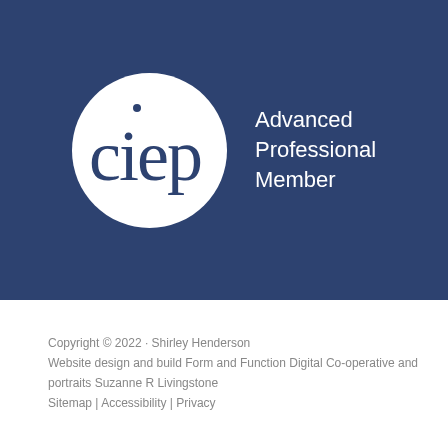[Figure (logo): CIEP Advanced Professional Member badge: dark navy blue background with a white circle containing the 'ciep' logotype in navy, with the text 'Advanced Professional Member' in white to the right.]
Copyright © 2022 · Shirley Henderson
Website design and build Form and Function Digital Co-operative and portraits Suzanne R Livingstone
Sitemap | Accessibility | Privacy